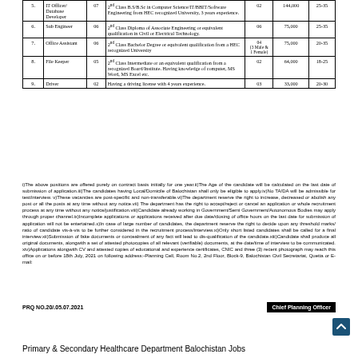| Sr. | Post | BPS | Qualification / Experience | No. of Posts | Salary | Age |
| --- | --- | --- | --- | --- | --- | --- |
| 5. | IT Officer/ Database Developer | 07 | 2nd Class B.S/B.Sc in Computer Science/IT/BBIT/Software Engineering from HEC recognized University, 3 years experience. | 02 | 144,000 | 25-35 |
| 6. | Sub Engineer | 06 | 2nd Class Diploma of Associate Engineering or equivalent qualification in Civil or Electrical Technology. | 06 | 75,000 | 25-35 |
| 7. | Office Assistant | 06 | 2nd Class Bachelor Degree or equivalent qualification from a HEC recognized University | 04 (3 Male & 1 Female) | 75,000 | 20-35 |
| 8. | File Keeper | 05 | 2nd Class Intermediate or an equivalent qualification from a recognized Board/Institute. Having knowledge of computer, MS Word, MS Excel etc. | 02 | 64,000 | 18-25 |
| 9. | Driver | 02 | Having a driving license with 4 years experience. | 03 | 33,000 | 20-30 |
i)The above positions are offered purely on contract basis initially for one year.ii)The Age of the candidate will be calculated on the last date of submission of application.iii)The candidates having Local/Domicile of Balochistan shall only be eligible to apply.iv)No TA/DA will be admissible for test/interview. v)These vacancies are post-specific and non-transferable.vi)The department reserve the right to increase, decreased or abolish any post or all the posts at any time without any notice.vii) The department has the right to accept/reject or cancel an application or whole recruitment process at any time without any notice/justification.viii)Candidate already working in Government/Semi Government/Autonomous Bodies may apply through proper channel.ix)Incomplete applications or applications received after due date/closing of office hours on the last date for submission of application will not be entertained.x)In case of large number of candidates, the department reserve the right to decide upon any threshold marks/ ratio of candidate vis-à-vis to be further considered in the recruitment process/interview.xi)Only short listed candidates shall be called for a final interview.xii)Submission of fake documents or concealment of any fact will lead to dis-qualification of the candidate.xiii)Candidate shall produce all original documents, alongwith a set of attested photocopies of all relevant (verifiable) documents, at the date/time of interview to be communicated. xiv)Applications alongwith CV and attested copies of educational and experience certificates, CNIC and three (3) recent photograph may reach this office on or before 18th July, 2021 on following address:-Planning Cell, Room No.2, 2nd Floor, Block-9, Balochistan Civil Secretariat, Quetta or E-mail:
PRQ NO.20/.05.07.2021
Chief Planning Officer
Primary & Secondary Healthcare Department Balochistan Jobs